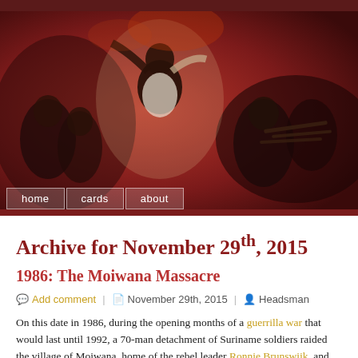[Figure (photo): Header banner image showing a dramatic painting (Goya-style) with figures, one with raised arms, dark red tones. Navigation buttons 'home', 'cards', 'about' overlaid at the bottom.]
Archive for November 29th, 2015
1986: The Moiwana Massacre
Add comment | November 29th, 2015 | Headsman
On this date in 1986, during the opening months of a guerrilla war that would last until 1992, a 70-man detachment of Suriname soldiers raided the village of Moiwana, home of the rebel leader Ronnie Brunswijk, and massacred dozens of people.
[Figure (photo): Scanned historical document image showing handwritten notes and stamp markings, partially visible at the bottom of the page.]